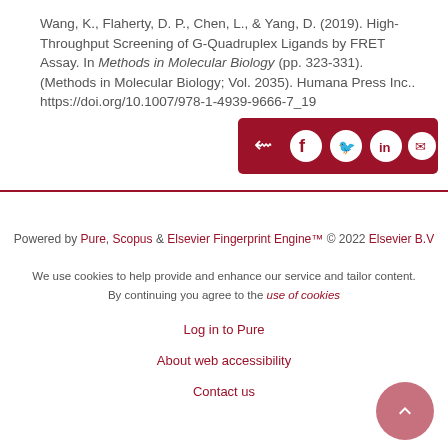Wang, K., Flaherty, D. P., Chen, L., & Yang, D. (2019). High-Throughput Screening of G-Quadruplex Ligands by FRET Assay. In Methods in Molecular Biology (pp. 323-331). (Methods in Molecular Biology; Vol. 2035). Humana Press Inc.. https://doi.org/10.1007/978-1-4939-9666-7_19
[Figure (other): Social share bar with dark red background containing share, Facebook, Twitter, LinkedIn, and email icons]
Powered by Pure, Scopus & Elsevier Fingerprint Engine™ © 2022 Elsevier B.V

We use cookies to help provide and enhance our service and tailor content. By continuing you agree to the use of cookies

Log in to Pure

About web accessibility

Contact us